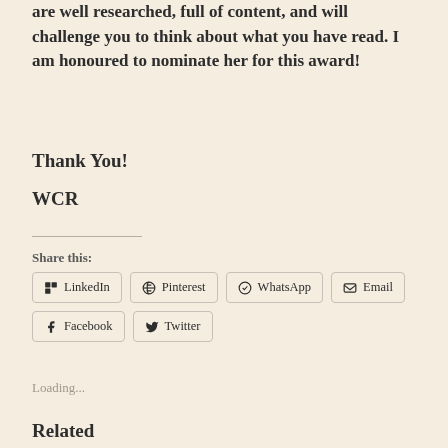are well researched, full of content, and will challenge you to think about what you have read. I am honoured to nominate her for this award!
Thank You!
WCR
Share this:
LinkedIn  Pinterest  WhatsApp  Email  Facebook  Twitter
Loading...
Related